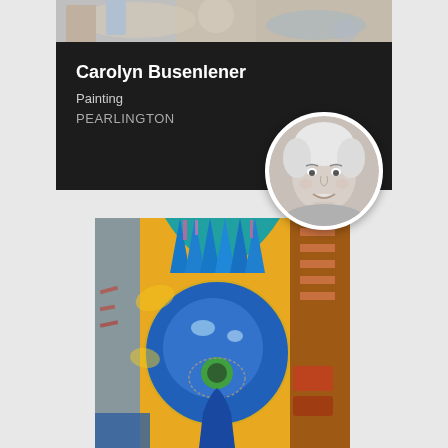[Figure (photo): Top strip showing partial artwork background in muted tones]
Carolyn Busenlener
Painting
PEARLINGTON
[Figure (photo): Circular black-and-white portrait photo of an older woman with short white/gray hair, smiling]
[Figure (photo): Abstract painting with bold blue circular swirl on yellow/orange background with brown and teal accents, green center detail]